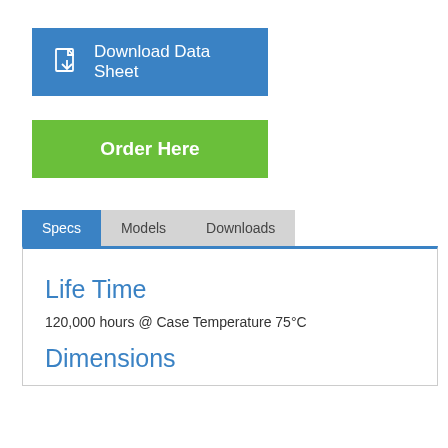[Figure (other): Blue button with PDF icon and text 'Download Data Sheet']
[Figure (other): Green button with text 'Order Here']
[Figure (other): Tab navigation with three tabs: Specs (active, blue), Models, Downloads (inactive, grey)]
Life Time
120,000 hours @ Case Temperature 75°C
Dimensions